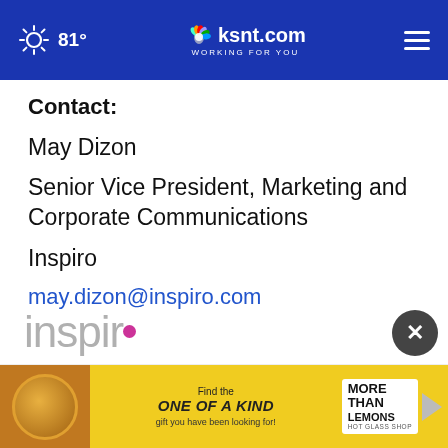81° ksnt.com WORKING FOR YOU
Contact:
May Dizon
Senior Vice President, Marketing and Corporate Communications
Inspiro
may.dizon@inspiro.com
[Figure (logo): Inspiro company logo (partial, greyed out) at bottom of page]
[Figure (screenshot): Advertisement banner: 'Find the ONE OF A KIND gift you have been looking for! MORE THAN LEMONS HOT GLASS SHOP']